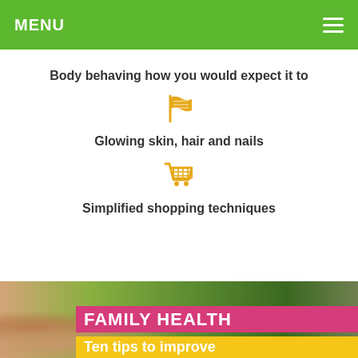MENU
Body behaving how you would expect it to
[Figure (illustration): Yellow/gold flag icon]
Glowing skin, hair and nails
[Figure (illustration): Yellow/gold shopping cart icon]
Simplified shopping techniques
[Figure (photo): Woman smiling in a grocery produce section with green vegetables in background]
FAMILY HEALTH
Ten tips to improve